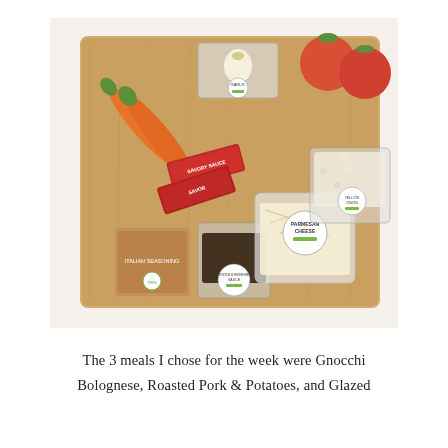[Figure (photo): Overhead photo of meal kit ingredients laid out on a wooden cutting board against a white background. Ingredients include two carrots, a plastic bag of garlic, two tomatoes, two red packets labeled 'Savory Sauce', a brown packet labeled 'Italian Seasoning', a small packet of Worcestershire sauce, a bag of shredded Parmesan cheese, and a bag of diced onion.]
The 3 meals I chose for the week were Gnocchi Bolognese, Roasted Pork & Potatoes, and Glazed